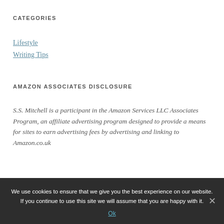CATEGORIES
Lifestyle
Writing Tips
AMAZON ASSOCIATES DISCLOSURE
S.S. Mitchell is a participant in the Amazon Services LLC Associates Program, an affiliate advertising program designed to provide a means for sites to earn advertising fees by advertising and linking to Amazon.co.uk
We use cookies to ensure that we give you the best experience on our website. If you continue to use this site we will assume that you are happy with it.
Ok